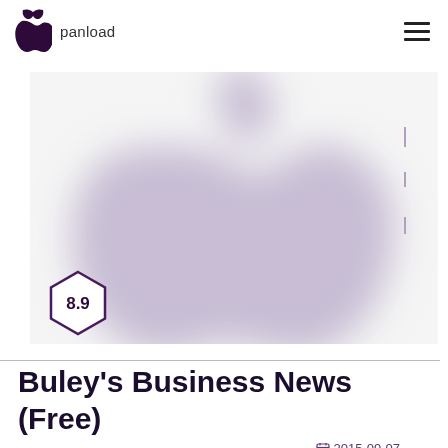panload
[Figure (illustration): Large blurred Apple logo silhouette in light purple/lavender on white background, with a hexagonal badge showing 8.9 rating in bottom left]
Buley's Business News (Free)
2015-09-07
news business